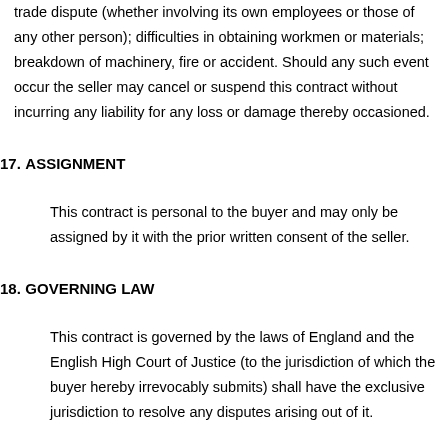trade dispute (whether involving its own employees or those of any other person); difficulties in obtaining workmen or materials; breakdown of machinery, fire or accident. Should any such event occur the seller may cancel or suspend this contract without incurring any liability for any loss or damage thereby occasioned.
17. ASSIGNMENT
This contract is personal to the buyer and may only be assigned by it with the prior written consent of the seller.
18. GOVERNING LAW
This contract is governed by the laws of England and the English High Court of Justice (to the jurisdiction of which the buyer hereby irrevocably submits) shall have the exclusive jurisdiction to resolve any disputes arising out of it.